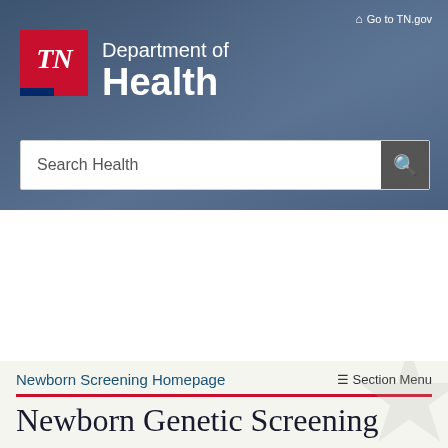[Figure (logo): Tennessee Department of Health website header with TN state logo (red box with TN in white italic, blue/red stripe below), 'Department of Health' text in white on dark blue/grey background, search bar below]
Go to TN.gov
Department of Health
Search Health
Section
INFORMATION FROM TN DEPT OF HEALTH ABOUT THE ONGOING NOVEL CORONAVIRUS OUTBREAK
FORMULA SHORTAGE INFORMATION & RESOURCES
Newborn Screening Homepage
Section Menu
Newborn Genetic Screening